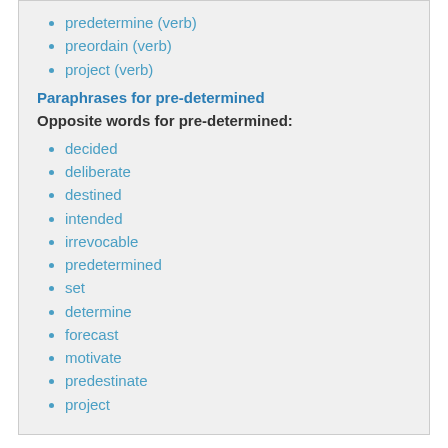predetermine (verb)
preordain (verb)
project (verb)
Paraphrases for pre-determined
Opposite words for pre-determined:
decided
deliberate
destined
intended
irrevocable
predetermined
set
determine
forecast
motivate
predestinate
project
Synonyms for Pre-determined:
adj.